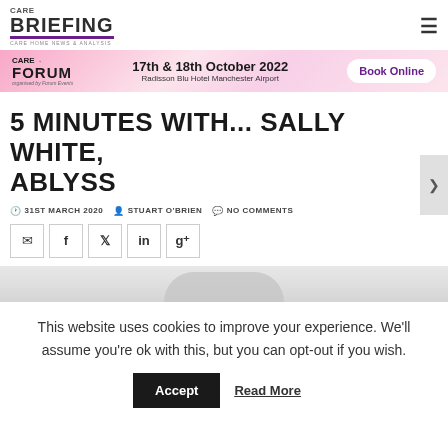CARE BRIEFING — CARE HOME NEWS & ANALYSIS
[Figure (infographic): Care Forum advertisement banner: '17th & 18th October 2022, Radisson Blu Hotel Manchester Airport, Book Online']
5 MINUTES WITH... SALLY WHITE, ABLYSS
31ST MARCH 2020  STUART O'BRIEN  NO COMMENTS
[Figure (infographic): Social media share buttons: email, Facebook, Twitter, LinkedIn, Google+]
[Figure (photo): Top of a person's head/hair, partially visible image strip]
This website uses cookies to improve your experience. We'll assume you're ok with this, but you can opt-out if you wish.
Accept   Read More